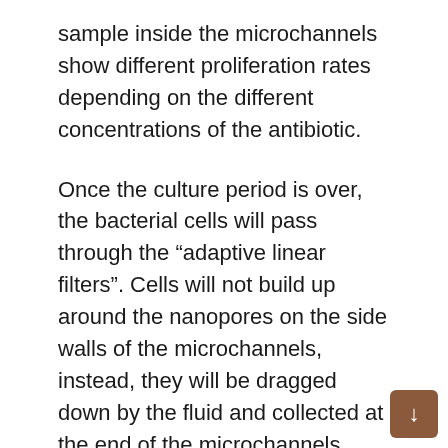sample inside the microchannels show different proliferation rates depending on the different concentrations of the antibiotic.
Once the culture period is over, the bacterial cells will pass through the “adaptive linear filters”. Cells will not build up around the nanopores on the side walls of the microchannels, instead, they will be dragged down by the fluid and collected at the end of the microchannels.
The accumulated cells will then form visible vertical bars whose lengths are proportional to the quantity of bacterial cells cultured under the different concentrations of the antibiotic.